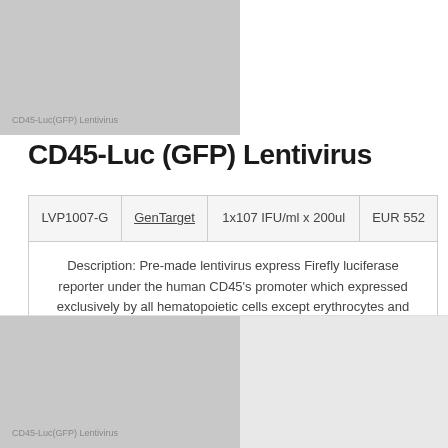[Figure (other): Gray image block with label 'CD45-Luc(GFP) Lentivirus' in small text at bottom left]
CD45-Luc (GFP) Lentivirus
| LVP1007-G | GenTarget | 1x107 IFU/ml x 200ul | EUR 552 |
Description: Pre-made lentivirus express Firefly luciferase reporter under the human CD45's promoter which expressed exclusively by all hematopoietic cells except erythrocytes and platelets. This lentivirus also contain the GFP selection marker under the consitutiveRSV promoter, provided in DMEM medium with 10% FBS and 60ug/ml of polybrene.
[Figure (other): Bottom gray image block with label 'CD45-Luc(GFP) Lentivirus' in small text]